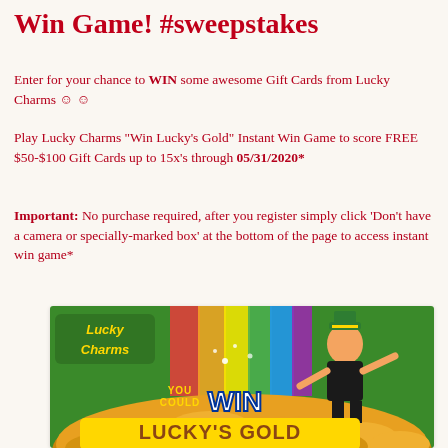Win Game! #sweepstakes
Enter for your chance to WIN some awesome Gift Cards from Lucky Charms ☺ ☺
Play Lucky Charms "Win Lucky's Gold" Instant Win Game to score FREE $50-$100 Gift Cards up to 15x's through 05/31/2020*
Important: No purchase required, after you register simply click 'Don't have a camera or specially-marked box' at the bottom of the page to access instant win game*
[Figure (illustration): Lucky Charms 'You Could Win Lucky's Gold' promotional game image featuring the Lucky the Leprechaun mascot jumping over a pile of gold coins with a rainbow background and the Lucky Charms logo]